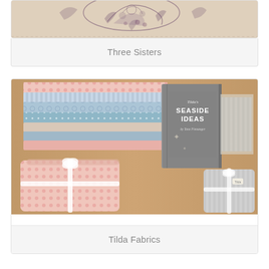[Figure (photo): Partial view of Three Sisters fabric collection showing a beige/tan fabric with dark botanical toile print featuring fruits and leaves]
Three Sisters
[Figure (photo): Tilda Fabrics Seaside Ideas collection photo showing stacked fabric bundles in blue, pink, and grey floral and striped patterns, with a Tilda Seaside Ideas book propped up in the background, and pink floral fat quarter bundles tied with white ribbon in the foreground, on a wooden surface]
Tilda Fabrics